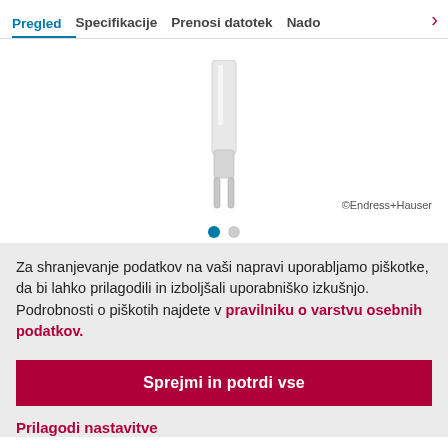Pregled  Specifikacije  Prenosi datotek  Nado…
[Figure (photo): Endress+Hauser sensor product image — a small cylindrical white sensor probe with a forked/prong tip at the bottom. Copyright: ©Endress+Hauser]
Za shranjevanje podatkov na vaši napravi uporabljamo piškotke, da bi lahko prilagodili in izboljšali uporabniško izkušnjo. Podrobnosti o piškotih najdete v pravilniku o varstvu osebnih podatkov.
Sprejmi in potrdi vse
Prilagodi nastavitve